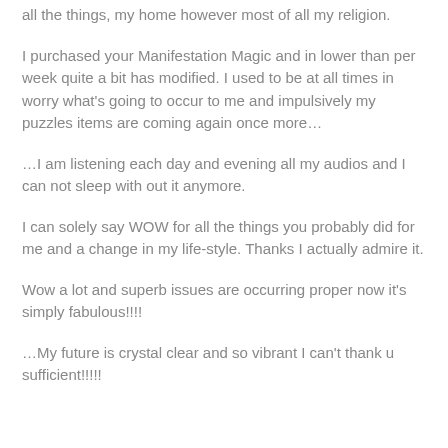all the things, my home however most of all my religion.
I purchased your Manifestation Magic and in lower than per week quite a bit has modified. I used to be at all times in worry what's going to occur to me and impulsively my puzzles items are coming again once more…
…I am listening each day and evening all my audios and I can not sleep with out it anymore.
I can solely say WOW for all the things you probably did for me and a change in my life-style. Thanks I actually admire it.
Wow a lot and superb issues are occurring proper now it's simply fabulous!!!!
…My future is crystal clear and so vibrant I can't thank u sufficient!!!!!